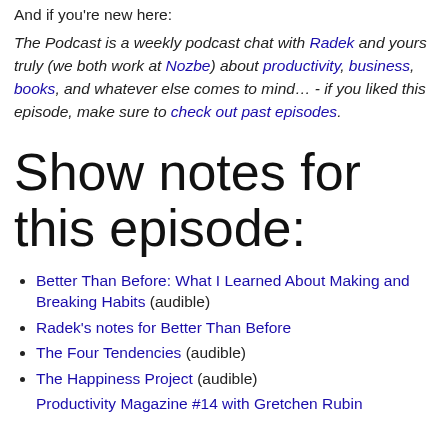And if you're new here:
The Podcast is a weekly podcast chat with Radek and yours truly (we both work at Nozbe) about productivity, business, books, and whatever else comes to mind… - if you liked this episode, make sure to check out past episodes.
Show notes for this episode:
Better Than Before: What I Learned About Making and Breaking Habits (audible)
Radek's notes for Better Than Before
The Four Tendencies (audible)
The Happiness Project (audible)
Productivity Magazine #14 with Gretchen Rubin